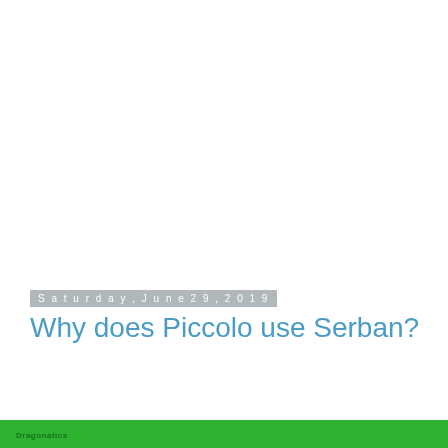Saturday, June 29, 2019
Why does Piccolo use Serban?
Dragonatics